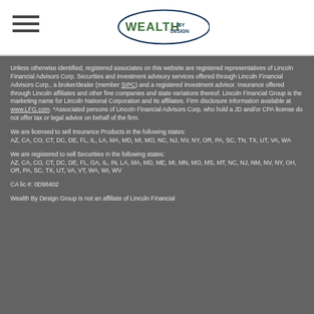[Figure (logo): Wealth By Design logo with oval shape in dark blue and green text]
Unless otherwise identified, registered associates on this website are registered representatives of Lincoln Financial Advisors Corp. Securities and investment advisory services offered through Lincoln Financial Advisors Corp., a broker/dealer (member SIPC) and a registered investment advisor. Insurance offered through Lincoln affiliates and other fine companies and state variations thereof. Lincoln Financial Group is the marketing name for Lincoln National Corporation and its affiliates. Firm disclosure information available at www.LFG.com. *Associated persons of Lincoln Financial Advisors Corp. who hold a JD and/or CPA license do not offer tax or legal advice on behalf of the firm.
We are licensed to sell Insurance Products in the following states:
AZ, CA, CO, CT, DC, DE, FL, IL, LA, MA, MD, MI, MO, NC, NJ, NV, NY, OR, PA, SC, TN, TX, UT, VA, WA
We are registered to sell Securities in the following states:
AZ, CA, CO, CT, DC, DE, FL, GA, IL, IN, LA, MA, MD, ME, MI, MN, MO, MS, MT, NC, NJ, NM, NV, NY, OH, OR, PA, SC, TX, UT, VA, VT, WA, WI, WV
CA lic #: 0D98402
Wealth By Design Group is not an affiliate of Lincoln Financial